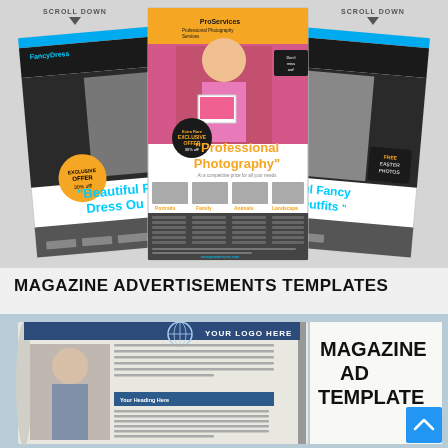[Figure (illustration): Three overlapping promotional flyer templates showing photography and fancy dress outfits services, with 'SCROLL DOWN' arrows on left and right sides. Center flyer shows 'Professional Photography' text in orange/yellow, left flyer shows 'Beautiful Fancy Dress Outfits', right flyer shows 'Beautiful Fancy Dress Outfits'. Flyers have dark/gray lower sections with text columns and thumbnail photos.]
MAGAZINE ADVERTISEMENTS TEMPLATES
[Figure (illustration): Magazine ad template mockup showing an open magazine/brochure. Left page has 'YOUR LOGO HERE' text with a globe icon and a woman's photo with blue heading bar. Right side shows large black text 'MAGAZINE AD TEMPLATE' on white background. A blue back-to-top button with upward chevron appears at bottom right.]